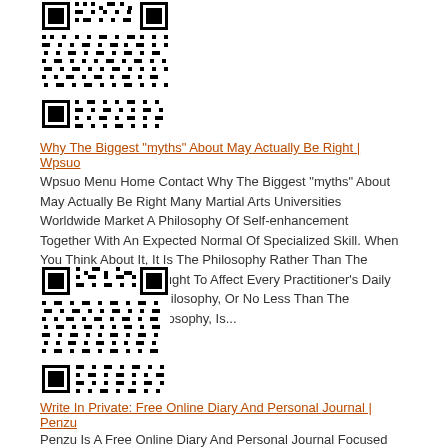[Figure (other): QR code image for Wpsuo link]
Why The Biggest "myths" About May Actually Be Right | Wpsuo
Wpsuo Menu Home Contact Why The Biggest "myths" About May Actually Be Right Many Martial Arts Universities Worldwide Market A Philosophy Of Self-enhancement Together With An Expected Normal Of Specialized Skill. When You Think About It, It Is The Philosophy Rather Than The Technical Skill That Ought To Affect Every Practitioner's Daily Life.the Martial Arts Philosophy, Or No Less Than The Traditional Karate Philosophy, Is...
[Figure (other): QR code image for Penzu link]
Write In Private: Free Online Diary And Personal Journal | Penzu
Penzu Is A Free Online Diary And Personal Journal Focused On Privacy. Easily Keep A Secret Diary Or A Private Journal Of Notes And Ideas Securely On The Web. ...